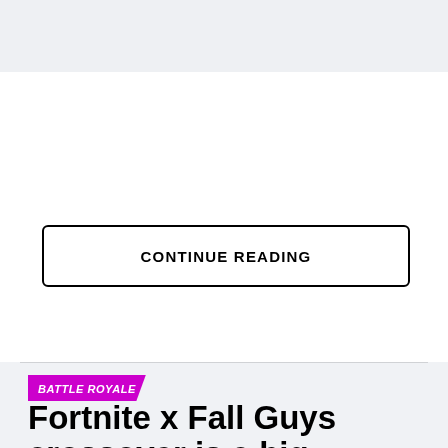CONTINUE READING
BATTLE ROYALE
Fortnite x Fall Guys crossover is a big disappointment and here's